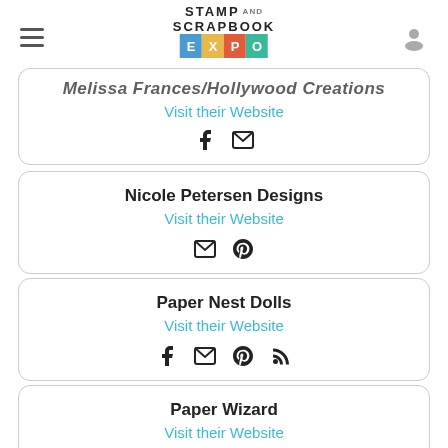Stamp and Scrapbook Expo
Melissa Frances/Hollywood Creations
Visit their Website
Nicole Petersen Designs
Visit their Website
Paper Nest Dolls
Visit their Website
Paper Wizard
Visit their Website